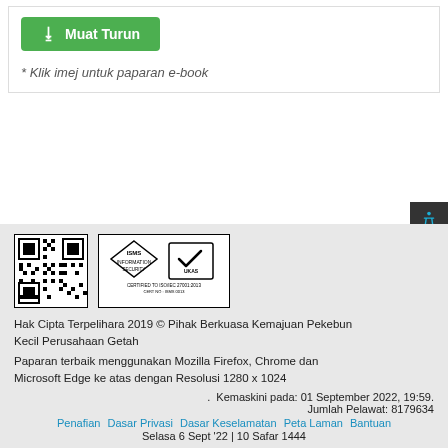Muat Turun
* Klik imej untuk paparan e-book
[Figure (other): QR code and ISMS/UKAS certification logo in the page footer]
Hak Cipta Terpelihara 2019 © Pihak Berkuasa Kemajuan Pekebun Kecil Perusahaan Getah
Paparan terbaik menggunakan Mozilla Firefox, Chrome dan Microsoft Edge ke atas dengan Resolusi 1280 x 1024
Kemaskini pada: 01 September 2022, 19:59.
Jumlah Pelawat: 8179634
Penafian  Dasar Privasi  Dasar Keselamatan  Peta Laman  Bantuan
Selasa 6 Sept '22 | 10 Safar 1444